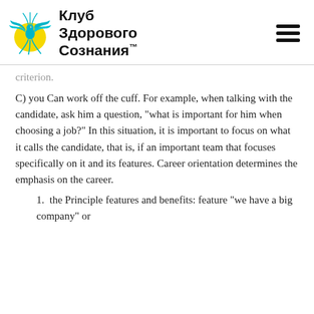Клуб Здорового Сознания™
criterion.
C) you Can work off the cuff. For example, when talking with the candidate, ask him a question, "what is important for him when choosing a job?" In this situation, it is important to focus on what it calls the candidate, that is, if an important team that focuses specifically on it and its features. Career orientation determines the emphasis on the career.
1. the Principle features and benefits: feature "we have a big company" or